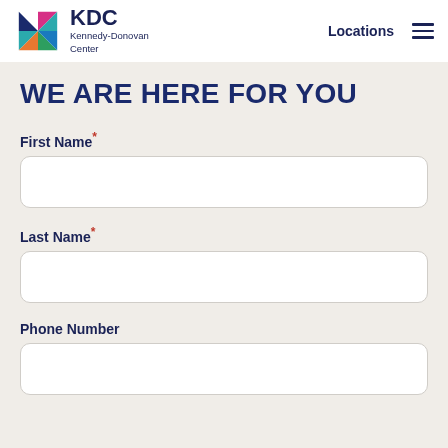KDC Kennedy-Donovan Center | Locations
WE ARE HERE FOR YOU
First Name*
Last Name*
Phone Number